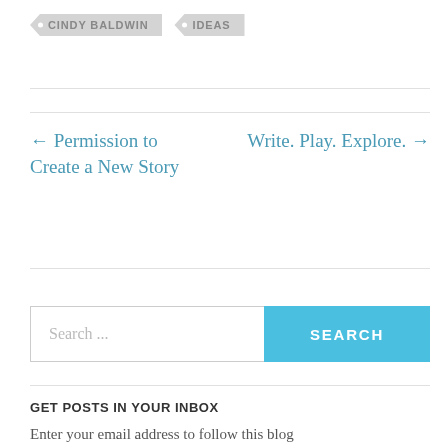CINDY BALDWIN
IDEAS
← Permission to Create a New Story
Write. Play. Explore. →
Search ...
SEARCH
GET POSTS IN YOUR INBOX
Enter your email address to follow this blog